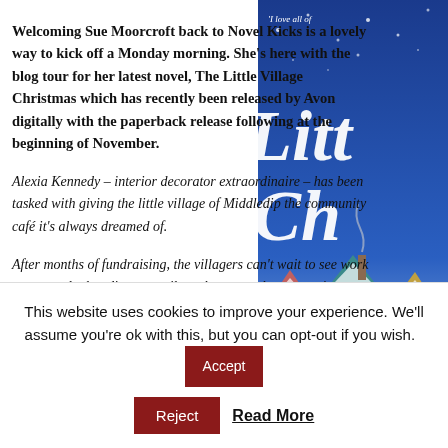Welcoming Sue Moorcroft back to Novel Kicks is a lovely way to kick off a Monday morning. She's here with the blog tour for her latest novel, The Little Village Christmas which has recently been released by Avon digitally with the paperback release following at the beginning of November.
Alexia Kennedy – interior decorator extraordinaire – has been tasked with giving the little village of Middledip the community café it's always dreamed of.
After months of fundraising, the villagers can't wait to see work get started – but disaster strikes when every last penny is stolen. With Middledip up in arms at how...
[Figure (illustration): Book cover of 'The Little Village Christmas' with blue winter sky background, snow-covered colorful village houses, and stylized white script title text. A quote at top reads 'I love all of']
This website uses cookies to improve your experience. We'll assume you're ok with this, but you can opt-out if you wish.